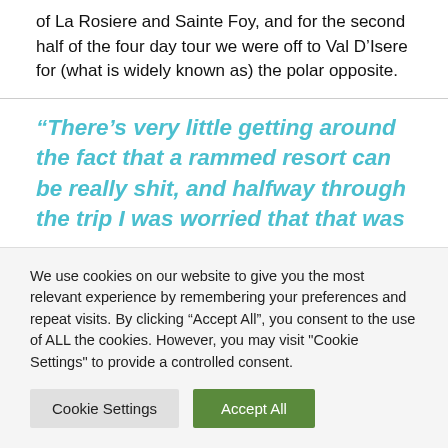of La Rosiere and Sainte Foy, and for the second half of the four day tour we were off to Val D’Isere for (what is widely known as) the polar opposite.
“There’s very little getting around the fact that a rammed resort can be really shit, and halfway through the trip I was worried that that was
We use cookies on our website to give you the most relevant experience by remembering your preferences and repeat visits. By clicking “Accept All”, you consent to the use of ALL the cookies. However, you may visit "Cookie Settings" to provide a controlled consent.
Cookie Settings
Accept All